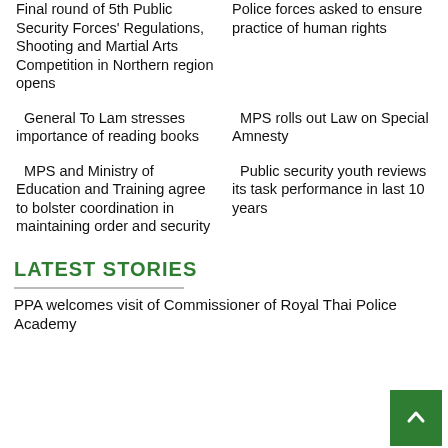Final round of 5th Public Security Forces' Regulations, Shooting and Martial Arts Competition in Northern region opens
Police forces asked to ensure practice of human rights
General To Lam stresses importance of reading books
MPS rolls out Law on Special Amnesty
MPS and Ministry of Education and Training agree to bolster coordination in maintaining order and security
Public security youth reviews its task performance in last 10 years
LATEST STORIES
PPA welcomes visit of Commissioner of Royal Thai Police Academy